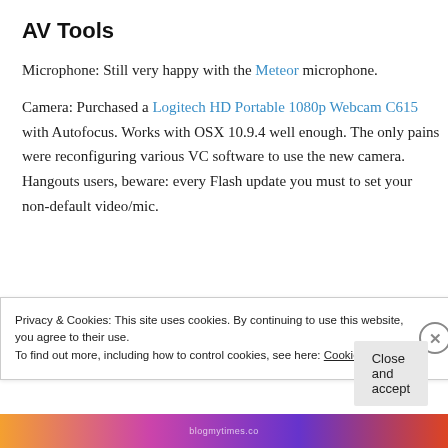AV Tools
Microphone: Still very happy with the Meteor microphone.
Camera: Purchased a Logitech HD Portable 1080p Webcam C615 with Autofocus. Works with OSX 10.9.4 well enough. The only pains were reconfiguring various VC software to use the new camera. Hangouts users, beware: every Flash update you must to set your non-default video/mic.
Privacy & Cookies: This site uses cookies. By continuing to use this website, you agree to their use. To find out more, including how to control cookies, see here: Cookie Policy
Close and accept